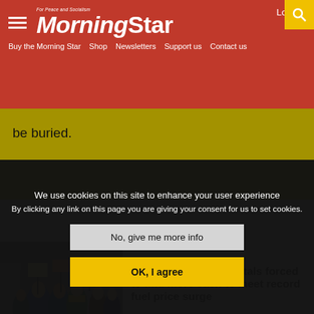Morning Star — For Peace and Socialism
Buy the Morning Star
Shop
Newsletters
Support us
Contact us
be buried.
[Figure (photo): Crowd of protesters holding signs, with NHS workers in blue scrubs and hi-vis jackets in the foreground]
Crisis looms as hospitals forced to find more cash to meet record fuel price surge
We use cookies on this site to enhance your user experience
By clicking any link on this page you are giving your consent for us to set cookies.
No, give me more info
OK, I agree